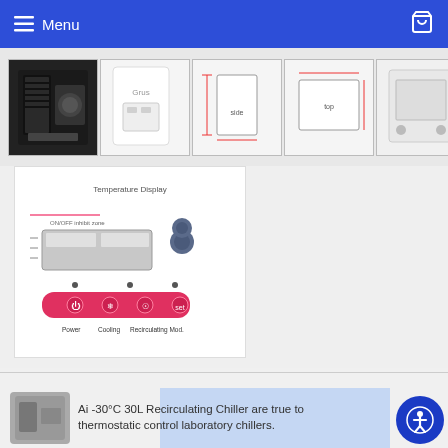Menu
[Figure (screenshot): Product image gallery thumbnails showing a recirculating chiller unit from multiple angles, and a control panel diagram with temperature display, buttons, and labels for Power, Cooling, Recirculating Mod.]
Description
Ai -30°C 30L Recirculating Chiller | 20L/Min Centrifugal Pump
Ai -30°C 30L Recirculating Chiller are true thermostatic control laboratory chillers.